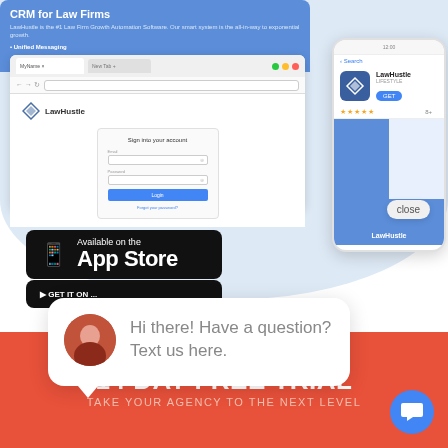[Figure (screenshot): LawHustle CRM for Law Firms marketing screenshot showing a browser window with LawHustle login page, a phone mockup showing the LawHustle app on the App Store, App Store download badge, a chat bubble with 'Hi there! Have a question? Text us here.' message, and a red footer bar with '14 DAY FREE TRIAL' and 'TAKE YOUR AGENCY TO THE NEXT LEVEL']
Hi there! Have a question? Text us here.
14 DAY FREE TRIAL
TAKE YOUR AGENCY TO THE NEXT LEVEL